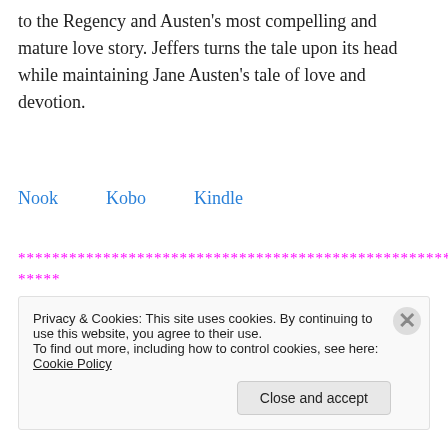to the Regency and Austen's most compelling and mature love story. Jeffers turns the tale upon its head while maintaining Jane Austen's tale of love and devotion.
Nook   Kobo   Kindle
******************************************************************************
*****
[Figure (illustration): Book cover for 'Vampire Darcy's Desire' showing dark purple/blue fantasy themed cover with gothic lettering.]
Privacy & Cookies: This site uses cookies. By continuing to use this website, you agree to their use.
To find out more, including how to control cookies, see here: Cookie Policy
Close and accept